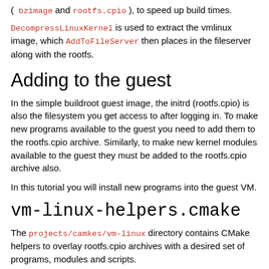( bzimage and rootfs.cpio ), to speed up build times.
DecompressLinuxKernel is used to extract the vmlinux image, which AddToFileServer then places in the fileserver along with the rootfs.
Adding to the guest
In the simple buildroot guest image, the initrd (rootfs.cpio) is also the filesystem you get access to after logging in. To make new programs available to the guest you need to add them to the rootfs.cpio archive. Similarly, to make new kernel modules available to the guest they must be added to the rootfs.cpio archive also.
In this tutorial you will install new programs into the guest VM.
vm-linux-helpers.cmake
The projects/camkes/vm-linux directory contains CMake helpers to overlay rootfs.cpio archives with a desired set of programs, modules and scripts.
AddFileToOverlayDir(filename, file_location